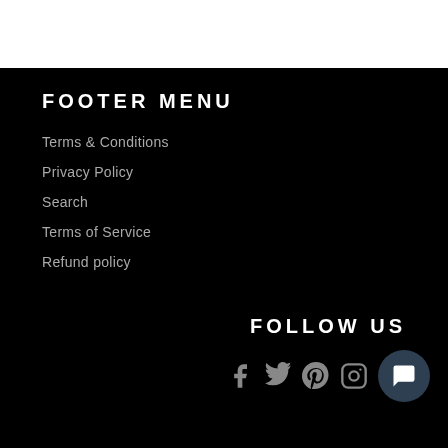FOOTER MENU
Terms & Conditions
Privacy Policy
Search
Terms of Service
Refund policy
FOLLOW US
[Figure (other): Social media icons: Facebook, Twitter, Pinterest, Instagram, and a chat bubble icon]
© 2022, Susan's Nails Limited